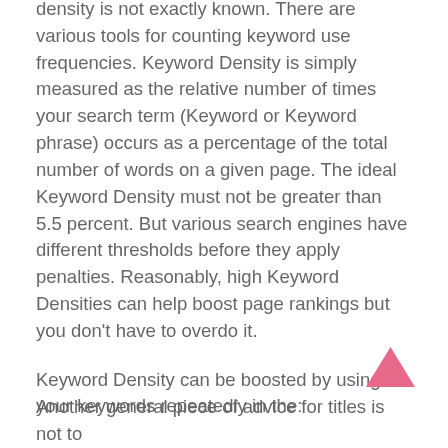density is not exactly known. There are various tools for counting keyword use frequencies. Keyword Density is simply measured as the relative number of times your search term (Keyword or Keyword phrase) occurs as a percentage of the total number of words on a given page. The ideal Keyword Density must not be greater than 5.5 percent. But various search engines have different thresholds before they apply penalties. Reasonably, high Keyword Densities can help boost page rankings but you don't have to overdo it.
Keyword Density can be boosted by using your keywords repeatedly in the:
Title tagHeader tagComment tagBody tagAnchor tagImage tagAlt tagDomain name, andParagraph tag
Another general piece of advice for titles is not to